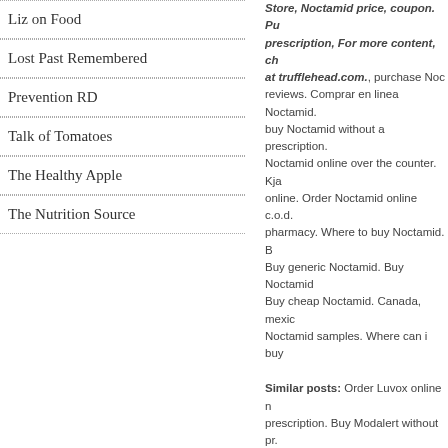Liz on Food
Lost Past Remembered
Prevention RD
Talk of Tomatoes
The Healthy Apple
The Nutrition Source
Store, Noctamid price, coupon. Purchase Noctamid without prescription, For more content, check trufflehead at trufflehead.com., purchase Noctamid reviews. Comprar en linea Noctamid. buy Noctamid without a prescription. Noctamid online over the counter. Kja online. Order Noctamid online c.o.d. pharmacy. Where to buy Noctamid. Buy generic Noctamid. Buy Noctamid. Buy cheap Noctamid. Canada, mexico Noctamid samples. Where can i buy
Similar posts: Order Luvox online no prescription. Buy Modalert without pr. Trackbacks from: Noctamid For Sale. Noctamid For Sale. Noctamid For Sale. generic Noctamid. Where can i order